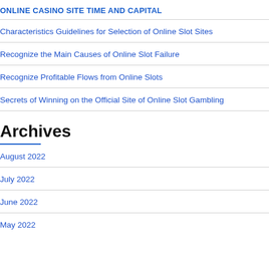ONLINE CASINO SITE TIME AND CAPITAL
Characteristics Guidelines for Selection of Online Slot Sites
Recognize the Main Causes of Online Slot Failure
Recognize Profitable Flows from Online Slots
Secrets of Winning on the Official Site of Online Slot Gambling
Archives
August 2022
July 2022
June 2022
May 2022